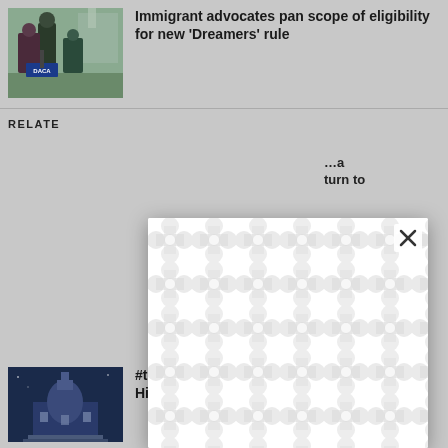[Figure (photo): Photo of person at DACA press conference with US Capitol in background, with DACA sign visible]
Immigrant advocates pan scope of eligibility for new 'Dreamers' rule
RELATED
...a ...turn to
...ate amendments
[Figure (photo): Photo of US Capitol building at night with dark blue background]
#tbt Trivia: Test Your Knowledge of Capitol Hill's Past
[Figure (screenshot): Modal overlay with decorative chain-link or bubble pattern in white/light gray, with X close button in top right corner]